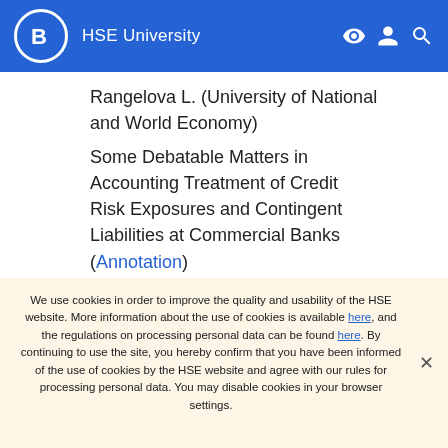HSE University
Rangelova L. (University of National and World Economy)
Some Debatable Matters in Accounting Treatment of Credit Risk Exposures and Contingent Liabilities at Commercial Banks (Annotation)
Jun G. (Lancaster University Management School)
We use cookies in order to improve the quality and usability of the HSE website. More information about the use of cookies is available here, and the regulations on processing personal data can be found here. By continuing to use the site, you hereby confirm that you have been informed of the use of cookies by the HSE website and agree with our rules for processing personal data. You may disable cookies in your browser settings.